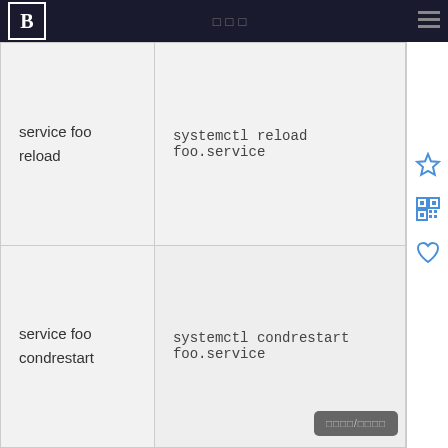BBB
| Legacy command | Systemd equivalent |
| --- | --- |
| service foo reload | systemctl reload foo.service |
| service foo condrestart | systemctl condrestart foo.service |